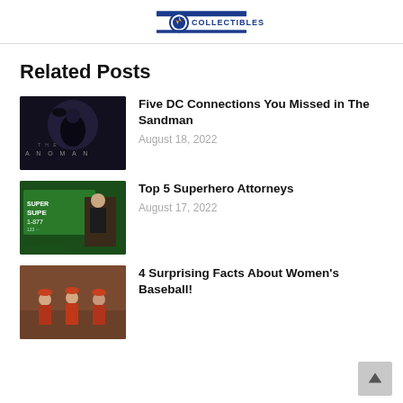[Figure (logo): Collectibles website logo with circular emblem and 'COLLECTIBLES' text in blue]
Related Posts
[Figure (photo): Promotional image for The Anomaly/Sandman - dark figure with crow, gothic style]
Five DC Connections You Missed in The Sandman
August 18, 2022
[Figure (photo): Superhero attorney billboard image - green advertisement with woman in suit]
Top 5 Superhero Attorneys
August 17, 2022
[Figure (photo): Women in vintage baseball uniforms, A League of Their Own style]
4 Surprising Facts About Women's Baseball!